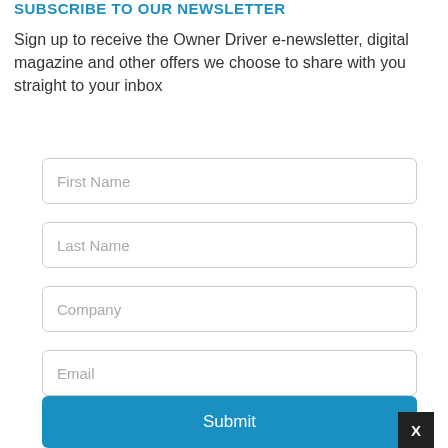SUBSCRIBE TO OUR NEWSLETTER
Sign up to receive the Owner Driver e-newsletter, digital magazine and other offers we choose to share with you straight to your inbox
First Name
Last Name
Company
Email
Submit
X